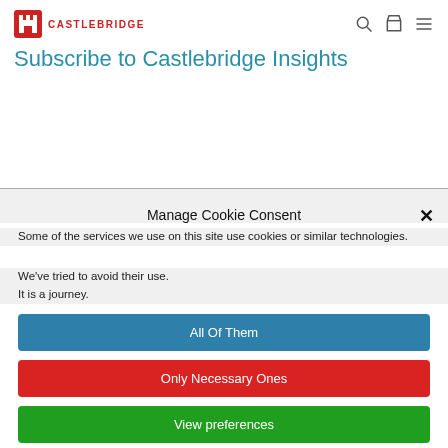[Figure (logo): Castlebridge logo: red castle icon with CASTLEBRIDGE text in red]
Subscribe to Castlebridge Insights
Manage Cookie Consent
Some of the services we use on this site use cookies or similar technologies.
We've tried to avoid their use.
It is a journey.
All Of Them
Only Necessary Ones
View preferences